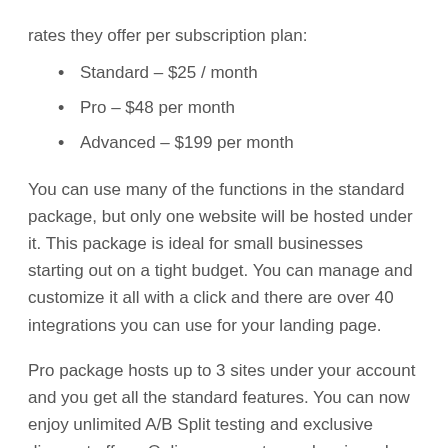rates they offer per subscription plan:
Standard – $25 / month
Pro – $48 per month
Advanced – $199 per month
You can use many of the functions in the standard package, but only one website will be hosted under it. This package is ideal for small businesses starting out on a tight budget. You can manage and customize it all with a click and there are over 40 integrations you can use for your landing page.
Pro package hosts up to 3 sites under your account and you get all the standard features. You can now enjoy unlimited A/B Split testing and exclusive discount offers. Online payments can be viewed and made.
The advanced package is ideal for companies that manage